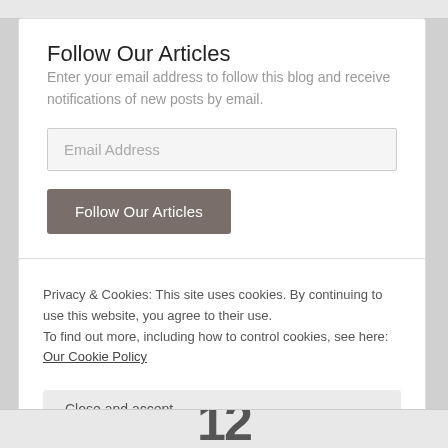Follow Our Articles
Enter your email address to follow this blog and receive notifications of new posts by email.
Email Address
Follow Our Articles
Privacy & Cookies: This site uses cookies. By continuing to use this website, you agree to their use.
To find out more, including how to control cookies, see here: Our Cookie Policy
Close and accept
12